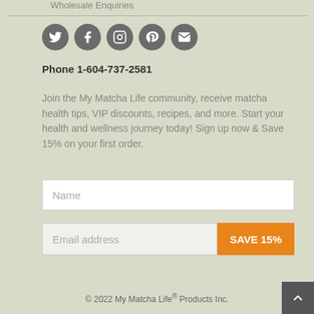Wholesale Enquiries
[Figure (infographic): Five social media icon circles: Twitter, Facebook, Instagram, Pinterest, Email]
Phone 1-604-737-2581
Join the My Matcha Life community, receive matcha health tips, VIP discounts, recipes, and more. Start your health and wellness journey today! Sign up now & Save 15% on your first order.
[Figure (other): Name input field]
[Figure (other): Email address input with SAVE 15% orange button]
© 2022 My Matcha Life® Products Inc.